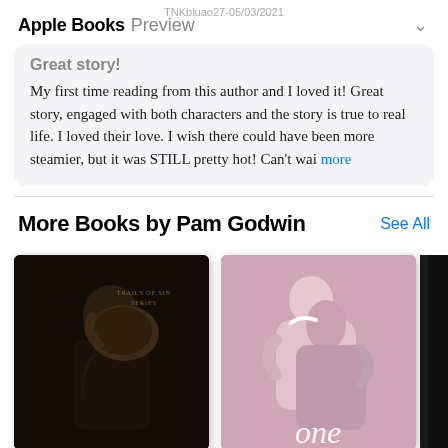Apple Books Preview
Great story!
My first time reading from this author and I loved it! Great story, engaged with both characters and the story is true to real life. I loved their love. I wish there could have been more steamier, but it was STILL pretty hot! Can't wai more
More Books by Pam Godwin
See All
[Figure (photo): Two book covers shown side by side. First book has a dark cover showing a person with a leather bag, labeled 'Trails of Sin Series'. Second book has a pink cover showing an embrace, with text 'one' at the bottom. A third book is partially visible on the right.]